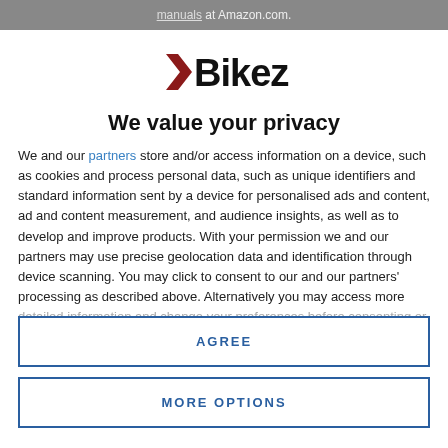manuals at Amazon.com.
[Figure (logo): Bikez logo with stylized arrow and bold text]
We value your privacy
We and our partners store and/or access information on a device, such as cookies and process personal data, such as unique identifiers and standard information sent by a device for personalised ads and content, ad and content measurement, and audience insights, as well as to develop and improve products. With your permission we and our partners may use precise geolocation data and identification through device scanning. You may click to consent to our and our partners' processing as described above. Alternatively you may access more detailed information and change your preferences before consenting or to refuse consenting. Please note that some processing of your
AGREE
MORE OPTIONS